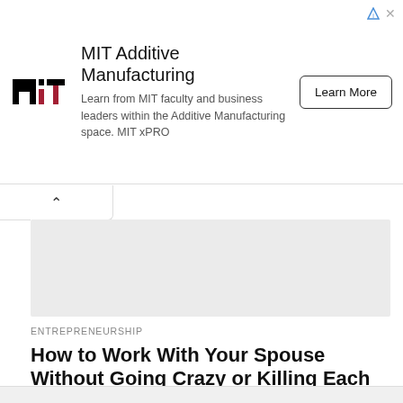[Figure (screenshot): MIT Additive Manufacturing advertisement banner with MIT logo, description text, and Learn More button]
MIT Additive Manufacturing
Learn from MIT faculty and business leaders within the Additive Manufacturing space. MIT xPRO
[Figure (screenshot): Gray placeholder image for article thumbnail]
ENTREPRENEURSHIP
How to Work With Your Spouse Without Going Crazy or Killing Each Other
BY GUEST BLOGGER